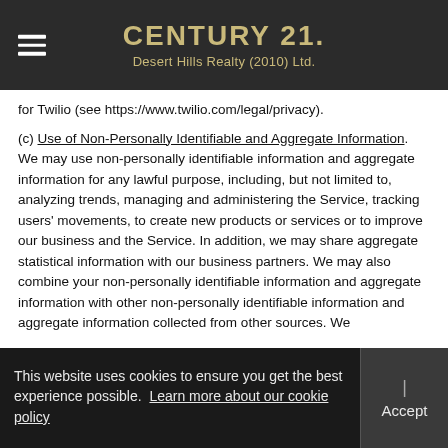CENTURY 21. Desert Hills Realty (2010) Ltd.
for Twilio (see https://www.twilio.com/legal/privacy).
(c) Use of Non-Personally Identifiable and Aggregate Information. We may use non-personally identifiable information and aggregate information for any lawful purpose, including, but not limited to, analyzing trends, managing and administering the Service, tracking users' movements, to create new products or services or to improve our business and the Service. In addition, we may share aggregate statistical information with our business partners. We may also combine your non-personally identifiable information and aggregate information with other non-personally identifiable information and aggregate information collected from other sources. We
This website uses cookies to ensure you get the best experience possible. Learn more about our cookie policy | Accept